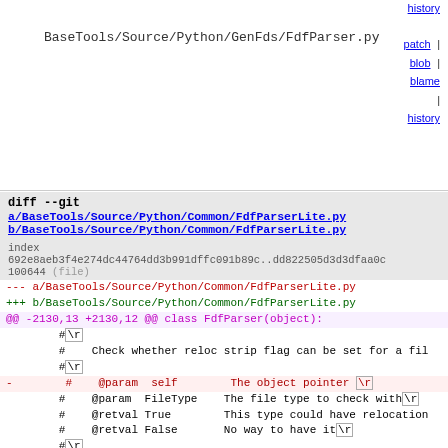history
BaseTools/Source/Python/GenFds/FdfParser.py
patch | blob | blame | history
[Figure (screenshot): Git diff of FdfParserLite.py showing removal of self parameter from __FileCouldHaveRelocFlag and addition of @staticmethod decorator]
diff --git a/BaseTools/Source/Python/Common/FdfParserLite.py b/BaseTools/Source/Python/Common/FdfParserLite.py